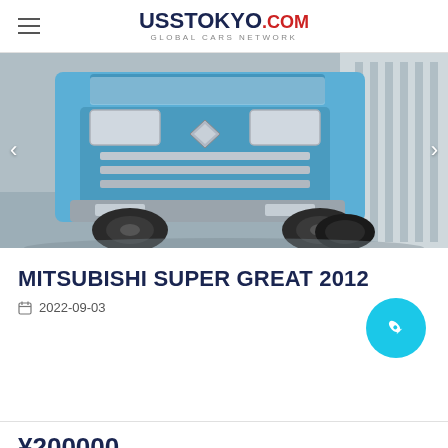USS TOKYO.COM GLOBAL CARS NETWORK
[Figure (photo): Front view of a blue Mitsubishi Super Great heavy truck in a garage or warehouse setting, with chrome grille and large black tires visible]
MITSUBISHI SUPER GREAT 2012
2022-09-03
¥200000